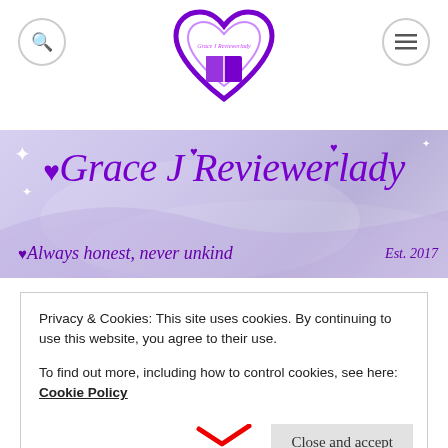[Figure (logo): Purple heart logo with book inside and 'Grace J Reviewerlady' text]
[Figure (illustration): Purple banner with cursive text 'Grace J Reviewerlady' and tagline 'Always honest, never unkind' with 'Est. 2017']
Privacy & Cookies: This site uses cookies. By continuing to use this website, you agree to their use.
To find out more, including how to control cookies, see here: Cookie Policy
Close and accept